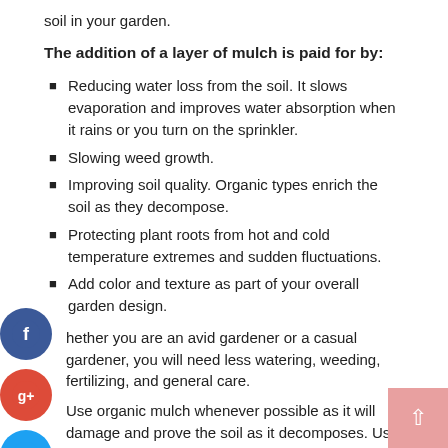soil in your garden.
The addition of a layer of mulch is paid for by:
Reducing water loss from the soil. It slows evaporation and improves water absorption when it rains or you turn on the sprinkler.
Slowing weed growth.
Improving soil quality. Organic types enrich the soil as they decompose.
Protecting plant roots from hot and cold temperature extremes and sudden fluctuations.
Add color and texture as part of your overall garden design.
hether you are an avid gardener or a casual gardener, you will need less watering, weeding, fertilizing, and general care.
Use organic mulch whenever possible as it will damage and prove the soil as it decomposes. Use outdated organic mulch (partially decomposed wood products) to improve soil and promote the growth of all plants. It will continue to rot and add nutrients to the soil.